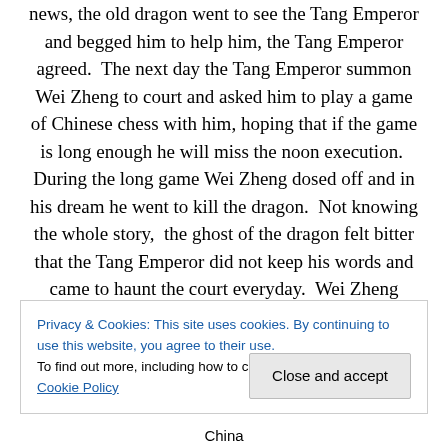news, the old dragon went to see the Tang Emperor and begged him to help him, the Tang Emperor agreed.  The next day the Tang Emperor summon Wei Zheng to court and asked him to play a game of Chinese chess with him, hoping that if the game is long enough he will miss the noon execution.  During the long game Wei Zheng dosed off and in his dream he went to kill the dragon.  Not knowing the whole story,  the ghost of the dragon felt bitter that the Tang Emperor did not keep his words and came to haunt the court everyday.  Wei Zheng found out and send 2 generals, Qin Qiong and Wei Chi Gong, to guard
Privacy & Cookies: This site uses cookies. By continuing to use this website, you agree to their use.
To find out more, including how to control cookies, see here: Cookie Policy
Close and accept
China